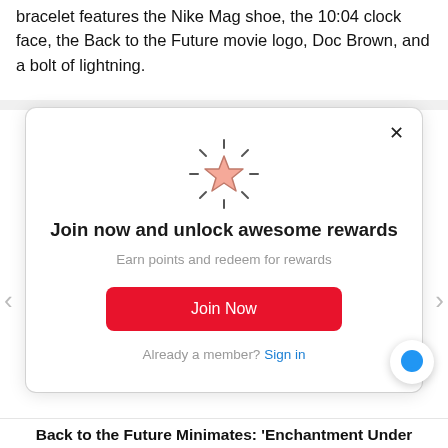bracelet features the Nike Mag shoe, the 10:04 clock face, the Back to the Future movie logo, Doc Brown, and a bolt of lightning.
[Figure (screenshot): A modal popup card with a glowing star icon, title 'Join now and unlock awesome rewards', subtitle 'Earn points and redeem for rewards', a red 'Join Now' button, and an 'Already a member? Sign in' link. Navigation arrows on left and right sides. A blue chat bubble icon in the bottom right.]
Back to the Future Minimates: 'Enchantment Under